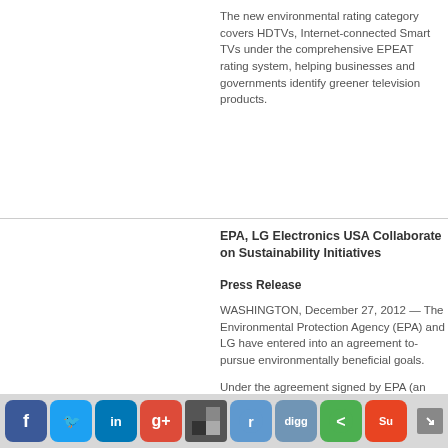The new environmental rating category covers HDTVs, Internet-connected Smart TVs under the comprehensive EPEAT rating system, helping businesses and governments identify greener television products.
EPA, LG Electronics USA Collaborate on Sustainability Initiatives
Press Release
WASHINGTON, December 27, 2012 — The Environmental Protection Agency (EPA) and LG have entered into an agreement to pursue environmentally beneficial goals.
Under the agreement signed by EPA (an ENERGY Partner of the Year), the company ... a of EPA-recognized stewar...